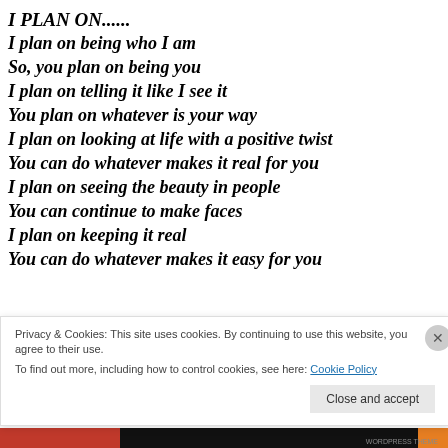I PLAN ON......
I plan on being who I am
So, you plan on being you
I plan on telling it like I see it
You plan on whatever is your way
I plan on looking at life with a positive twist
You can do whatever makes it real for you
I plan on seeing the beauty in people
You can continue to make faces
I plan on keeping it real
You can do whatever makes it easy for you
Privacy & Cookies: This site uses cookies. By continuing to use this website, you agree to their use. To find out more, including how to control cookies, see here: Cookie Policy